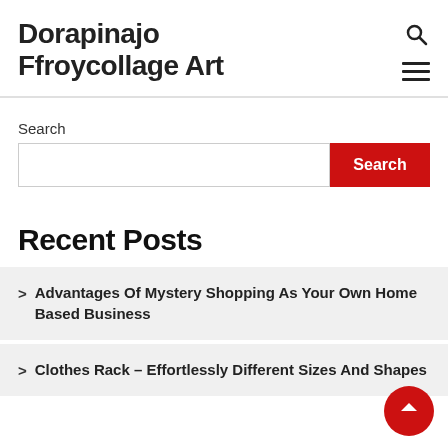Dorapinajo Ffroycollage Art
Search
Recent Posts
Advantages Of Mystery Shopping As Your Own Home Based Business
Clothes Rack – Effortlessly Different Sizes And Shapes